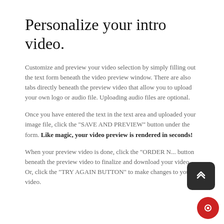Personalize your intro video.
Customize and preview your video selection by simply filling out the text form beneath the video preview window. There are also tabs directly beneath the preview video that allow you to upload your own logo or audio file. Uploading audio files are optional.
Once you have entered the text in the text area and uploaded your image file, click the "SAVE AND PREVIEW" button under the form. Like magic, your video preview is rendered in seconds!
When your preview video is done, click the "ORDER N..." button beneath the preview video to finalize and download your video. Or, click the "TRY AGAIN BUTTON" to make changes to your video.
[Figure (other): Dark rounded square scroll-to-top button with double chevron up arrow icon]
[Figure (other): Red circular chat button]